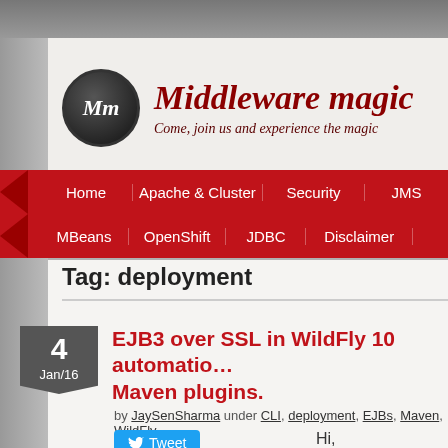[Figure (logo): Middleware magic logo with Mm circle icon and tagline 'Come, join us and experience the magic']
Home | Apache & Cluster | Security | JMS | MBeans | OpenShift | JDBC | Disclaimer
Tag: deployment
4 Jan/16
EJB3 over SSL in WildFly 10 automatically using Maven plugins.
by JaySenSharma under CLI, deployment, EJBs, Maven, WildFly
Hi,
In our some of the previous WildFly8 onwards we us (using default http connect